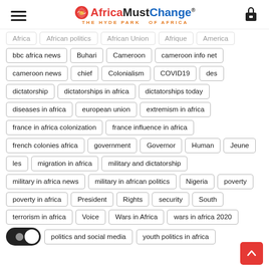AfricaMustChange® THE HYDE PARK OF AFRICA
Africa
African politics
African Union
Afrique
America
bbc africa news
Buhari
Cameroon
cameroon info net
cameroon news
chief
Colonialism
COVID19
des
dictatorship
dictatorships in africa
dictatorships today
diseases in africa
european union
extremism in africa
france in africa colonization
france influence in africa
french colonies africa
government
Governor
Human
Jeune
les
migration in africa
military and dictatorship
military in africa news
military in african politics
Nigeria
poverty
poverty in africa
President
Rights
security
South
terrorism in africa
Voice
Wars in Africa
wars in africa 2020
politics and social media
youth politics in africa